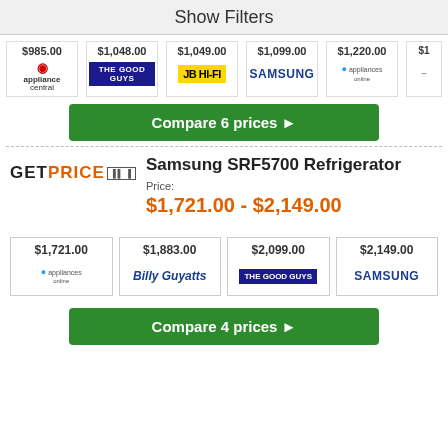Show Filters
[Figure (other): Price comparison row showing 6 retailers: Appliance Central $985.00, The Good Guys $1,048.00, JB HI-FI $1,049.00, Samsung $1,099.00, Appliances Online $1,220.00, and a partially visible 7th retailer with $1]
Compare 6 prices ▶
Samsung SRF5700 Refrigerator
[Figure (logo): GETPRICE logo with barcode]
Price:
$1,721.00 - $2,149.00
[Figure (other): Price comparison row showing 4 retailers: Appliances Online $1,721.00, Billy Guyatts $1,883.00, The Good Guys $2,099.00, Samsung $2,149.00]
Compare 4 prices ▶